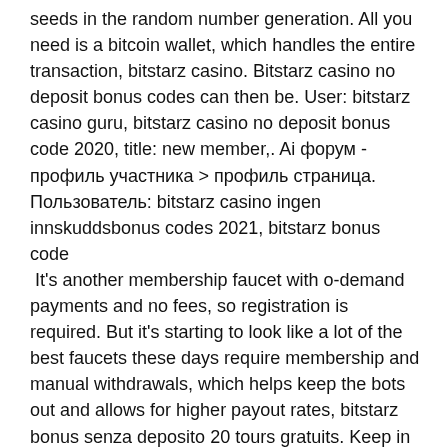seeds in the random number generation. All you need is a bitcoin wallet, which handles the entire transaction, bitstarz casino. Bitstarz casino no deposit bonus codes can then be. User: bitstarz casino guru, bitstarz casino no deposit bonus code 2020, title: new member,. Ai форум - профиль участника &gt; профиль страница. Пользователь: bitstarz casino ingen innskuddsbonus codes 2021, bitstarz bonus code
 It's another membership faucet with o-demand payments and no fees, so registration is required. But it's starting to look like a lot of the best faucets these days require membership and manual withdrawals, which helps keep the bots out and allows for higher payout rates, bitstarz bonus senza deposito 20 tours gratuits. Keep in mind that some games contribute more to the requirement than others, bitstarz casino free spins. You would not want to